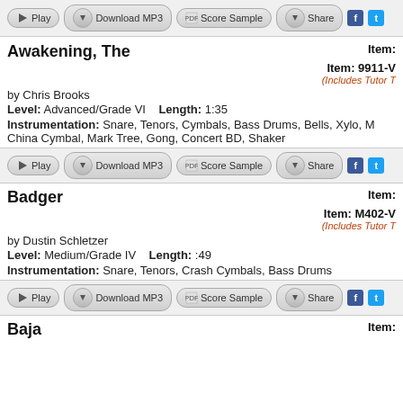[Figure (other): Toolbar with Play, Download MP3, Score Sample, Share buttons with Facebook and Twitter icons]
Awakening, The
Item: (partial)
Item: 9911-V
(Includes Tutor T...
by Chris Brooks
Level: Advanced/Grade VI     Length: 1:35
Instrumentation: Snare, Tenors, Cymbals, Bass Drums, Bells, Xylo, M... China Cymbal, Mark Tree, Gong, Concert BD, Shaker
[Figure (other): Toolbar with Play, Download MP3, Score Sample, Share buttons]
Badger
Item:
Item: M402-V
(Includes Tutor T...
by Dustin Schletzer
Level: Medium/Grade IV     Length: :49
Instrumentation: Snare, Tenors, Crash Cymbals, Bass Drums
[Figure (other): Toolbar with Play, Download MP3, Score Sample, Share buttons]
Baja
Item: